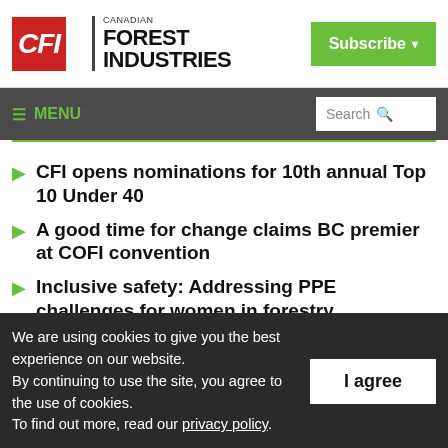[Figure (logo): Canadian Forest Industries (CFI) logo with red CFI box and black text, plus green Subscribe button]
≡ MENU  Search
CFI opens nominations for 10th annual Top 10 Under 40
A good time for change claims BC premier at COFI convention
Inclusive safety: Addressing PPE challenges for women in forestry
We are using cookies to give you the best experience on our website. By continuing to use the site, you agree to the use of cookies. To find out more, read our privacy policy.